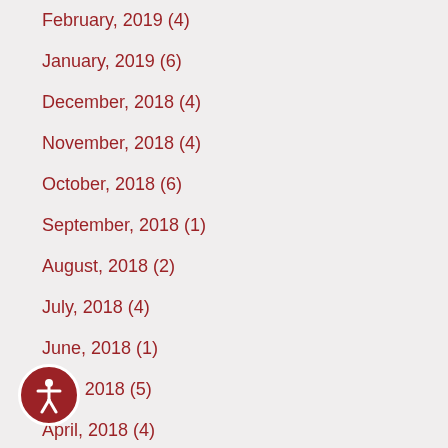February, 2019  (4)
January, 2019  (6)
December, 2018  (4)
November, 2018  (4)
October, 2018  (6)
September, 2018  (1)
August, 2018  (2)
July, 2018  (4)
June, 2018  (1)
May, 2018  (5)
April, 2018  (4)
March, 2018  (3)
February, 2018  (5)
January, 2018  (1)
December, 2017  (4)
November, 2017  (1)